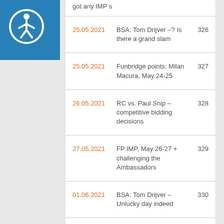[Figure (logo): Blue accessibility icon (wheelchair person in circle) on blue square background, top-left corner]
| Date | Title | Page |
| --- | --- | --- |
|  | got any IMP s |  |
| 25.05.2021 | BSA: Tom Drijver –? Is there a grand slam | 326 |
| 25.05.2021 | Funbridge points: Milan Macura, May 24-25 | 327 |
| 26.05.2021 | RC vs. Paul Snip – competitive bidding decisions | 328 |
| 27.05.2021 | FP IMP, May 26-27 + challenging the Ambassadors | 329 |
| 01.06.2021 | BSA: Tom Drijver – Unlucky day indeed | 330 |